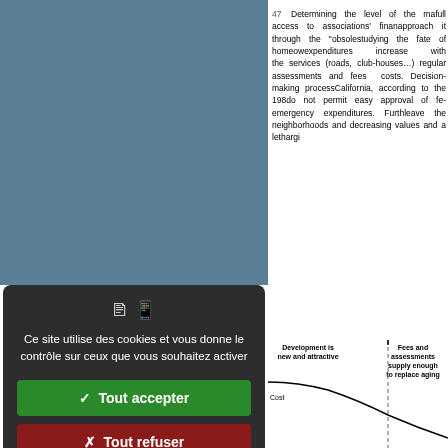47 Determining the level of the ma... full access to associations' finan... approach it through the "obsole... studying the fate of homeow... expenditures increase with the... services (roads, club-houses...) regular assessments and fees ... costs. Decision-making process... California, according to the 198... do not permit easy approval of fe... emergency expenditures. Furth... leave the neighborhoods and ... decreasing values and a lethargi...
[Figure (screenshot): Cookie consent modal overlay in French on a dark background: icons, text 'Ce site utilise des cookies et vous donne le contrôle sur ceux que vous souhaitez activer', green 'Tout accepter' button, red 'Tout refuser' button, white 'Personnaliser' button, and 'Politique de confidentialité' link.]
[Figure (continuous-plot): Partial view of a cost curve diagram showing 'Development is new and attractive' on the left, 'Fees and assessments supply enough to replace aging...' on the right, with a 'Cost' label and a declining curve with a dashed vertical line.]